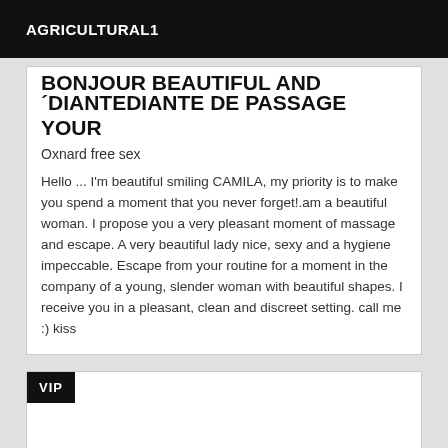AGRICULTURAL1
BONJOUR BEAUTIFUL AND ´DIANTEDIANTE DE PASSAGE YOUR
Oxnard free sex
Hello ... I'm beautiful smiling CAMILA, my priority is to make you spend a moment that you never forget!.am a beautiful woman. I propose you a very pleasant moment of massage and escape. A very beautiful lady nice, sexy and a hygiene impeccable. Escape from your routine for a moment in the company of a young, slender woman with beautiful shapes. I receive you in a pleasant, clean and discreet setting. call me :) kiss
VIP